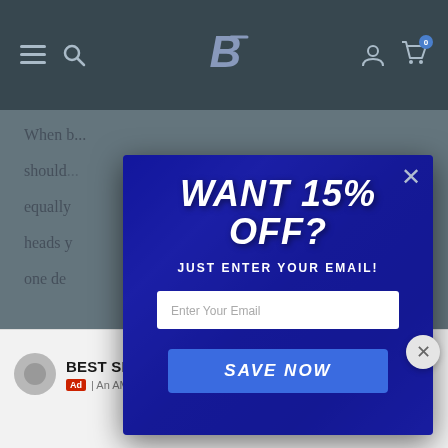Bodybuilding.com navigation bar with menu, search, logo, account, and cart icons
When b... should... ts are equally... e heads y... builds one de...
[Figure (screenshot): Modal popup overlay with blue gym background. Headline: WANT 15% OFF? Subheading: JUST ENTER YOUR EMAIL! Email input field. SAVE NOW button.]
Check ... e
[Figure (other): Advertisement bar: BEST SHOULDER EXERCISE FOR BULK - An AMG Site]
Report an ad
BEST SHOULDER EXERCISE FOR BULK
Ad | An AMG Site